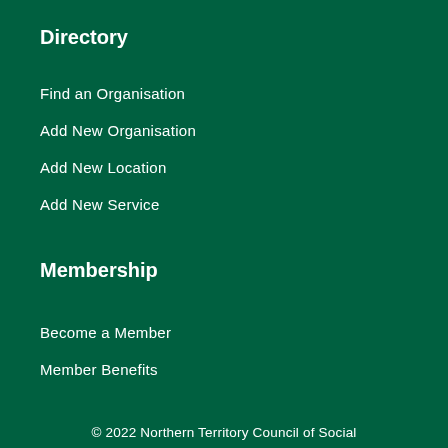Directory
Find an Organisation
Add New Organisation
Add New Location
Add New Service
Membership
Become a Member
Member Benefits
© 2022 Northern Territory Council of Social